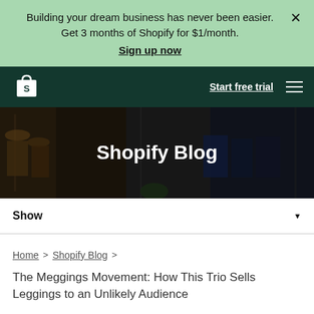Building your dream business has never been easier. Get 3 months of Shopify for $1/month. Sign up now
[Figure (logo): Shopify logo - white shopping bag with S on dark green nav bar]
Start free trial
[Figure (photo): Hero banner showing clothing store with hanging garments, hangers, and racks]
Shopify Blog
Show
Home > Shopify Blog >
The Meggings Movement: How This Trio Sells Leggings to an Unlikely Audience